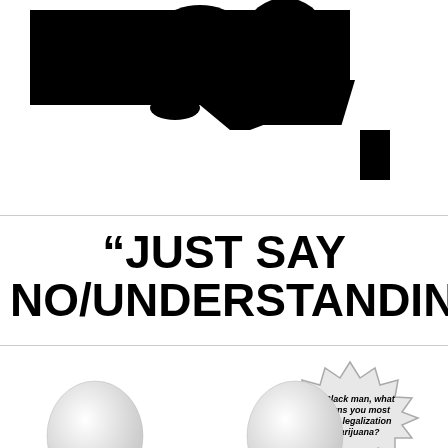[Figure (illustration): Black and white silhouette image of a person at a desk/typewriter, high contrast black on white background]
“JUST SAY NO/UNDERSTANDING”
[Figure (illustration): Comic-style jagged speech burst balloon with italic text 'As a Black man, what concerns you most with the legalization of marijuana?' alongside two white rounded figure heads at the bottom]
As a Black man, what concerns you most with the legalization of marijuana?